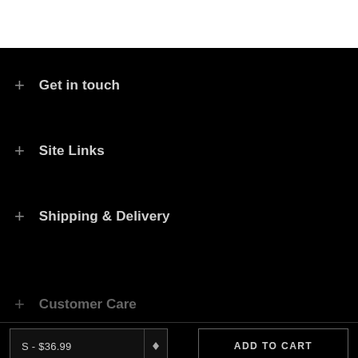[Figure (other): White area at top of page, product image area]
+ Get in touch
+ Site Links
+ Shipping & Delivery
+ Customer Care
S - $36.99
ADD TO CART